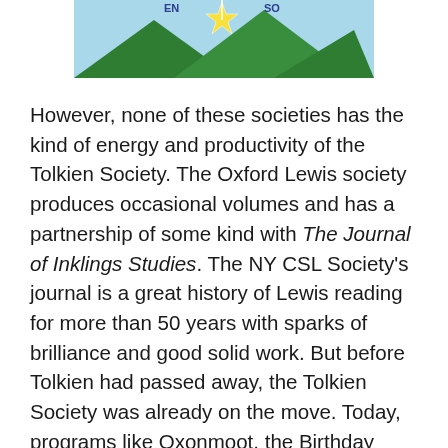[Figure (illustration): Partial view of a logo or emblem showing green mountains with a yellow and white star/sun above them, on a light blue sky background. Text partially visible at top reading 'EN' and 'SO'.]
However, none of these societies has the kind of energy and productivity of the Tolkien Society. The Oxford Lewis society produces occasional volumes and has a partnership of some kind with The Journal of Inklings Studies. The NY CSL Society's journal is a great history of Lewis reading for more than 50 years with sparks of brilliance and good solid work. But before Tolkien had passed away, the Tolkien Society was already on the move. Today, programs like Oxonmoot, the Birthday Toast, Tolkien Reading Day, and various meetings create a unique global readerly and scholarly energy. More than that, though, various scholarly journals and publications combine with The Tolkien Society Awards to encourage scholarship in a way that Lewis societies cannot match.